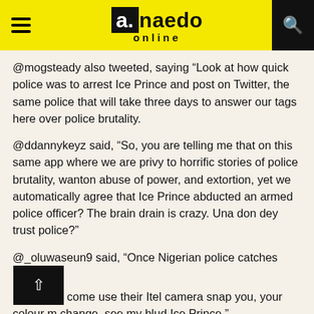a.naedo online
@mogsteady also tweeted, saying “Look at how quick police was to arrest Ice Prince and post on Twitter, the same police that will take three days to answer our tags here over police brutality.
@ddannykeyz said, “So, you are telling me that on this same app where we are privy to horrific stories of police brutality, wanton abuse of power, and extortion, yet we automatically agree that Ice Prince abducted an armed police officer? The brain drain is crazy. Una don dey trust police?”
@_oluwaseun9 said, “Once Nigerian police catches come use their Itel camera snap you, your colour m change. see my blud Ice Prince.”
The police had said the singer would be arraigned today